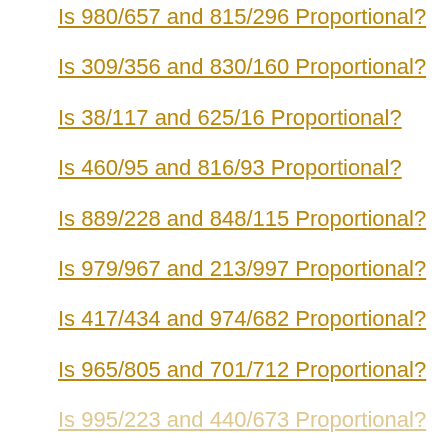Is 980/657 and 815/296 Proportional?
Is 309/356 and 830/160 Proportional?
Is 38/117 and 625/16 Proportional?
Is 460/95 and 816/93 Proportional?
Is 889/228 and 848/115 Proportional?
Is 979/967 and 213/997 Proportional?
Is 417/434 and 974/682 Proportional?
Is 965/805 and 701/712 Proportional?
Is 995/223 and 440/673 Proportional?